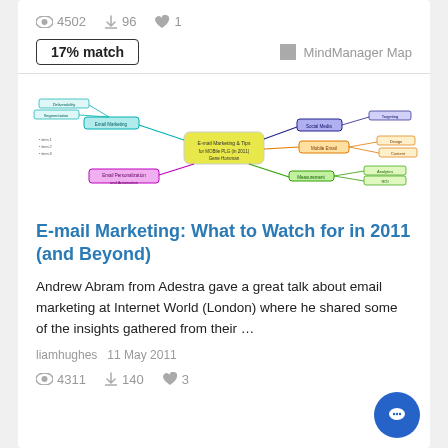4502  96  1
17% match   MindManager Map
[Figure (other): Mind map diagram showing email marketing topics with colored nodes and connecting lines]
E-mail Marketing: What to Watch for in 2011 (and Beyond)
Andrew Abram from Adestra gave a great talk about email marketing at Internet World (London) where he shared some of the insights gathered from their …
liamhughes  11 May 2011
4311  140  3